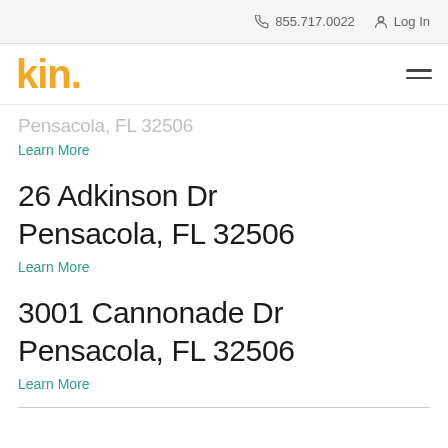855.717.0022  Log In
[Figure (logo): Kin insurance logo in orange/yellow text reading 'kin.' with hamburger menu icon]
Pensacola, FL 32506
Learn More
26 Adkinson Dr
Pensacola, FL 32506
Learn More
3001 Cannonade Dr
Pensacola, FL 32506
Learn More